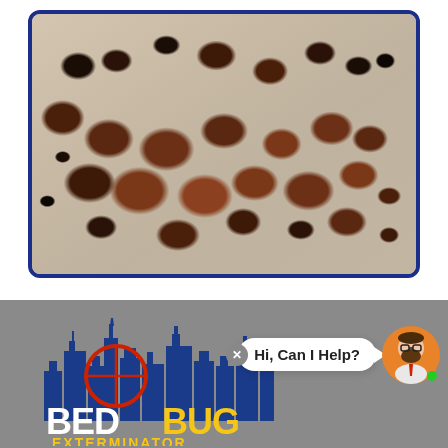[Figure (photo): Close-up macro photograph of multiple bed bugs (Cimex lectularius) of various sizes and life stages on a white fabric surface. The bugs range from dark black to reddish-brown in color, showing various sizes from tiny nymphs to larger adults.]
[Figure (logo): Bed Bug Exterminator logo with a city skyline silhouette in blue, a red target/crosshair symbol, and bold white text reading BED BUG EXTERMINATOR. A chat bubble reads 'Hi, Can I Help?' with a cartoon avatar of a bearded man with glasses.]